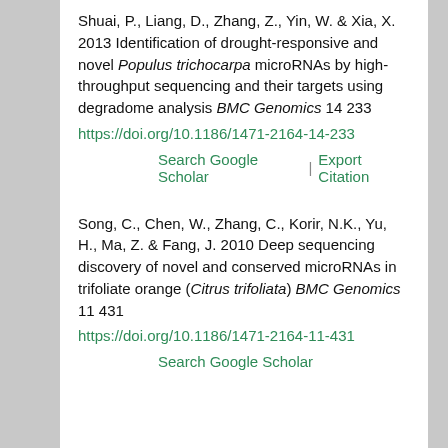Shuai, P., Liang, D., Zhang, Z., Yin, W. & Xia, X. 2013 Identification of drought-responsive and novel Populus trichocarpa microRNAs by high-throughput sequencing and their targets using degradome analysis BMC Genomics 14 233 https://doi.org/10.1186/1471-2164-14-233
Search Google Scholar | Export Citation
Song, C., Chen, W., Zhang, C., Korir, N.K., Yu, H., Ma, Z. & Fang, J. 2010 Deep sequencing discovery of novel and conserved microRNAs in trifoliate orange (Citrus trifoliata) BMC Genomics 11 431 https://doi.org/10.1186/1471-2164-11-431
Search Google Scholar